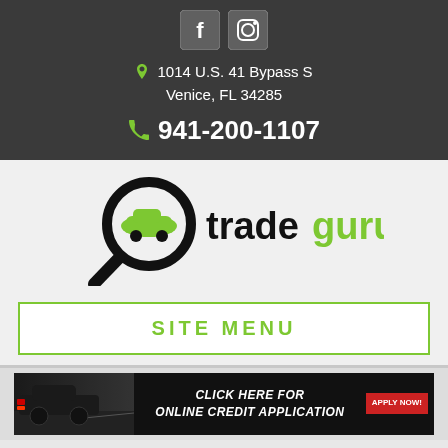[Figure (logo): Facebook and Instagram social media icons in dark header bar]
1014 U.S. 41 Bypass S Venice, FL 34285
941-200-1107
[Figure (logo): TradeGuru logo: magnifying glass with car icon, trade in black, guru in green]
SITE MENU
[Figure (infographic): Dark banner ad showing a car with red tail lights on a road, text: CLICK HERE FOR ONLINE CREDIT APPLICATION, with APPLY NOW button]
Text Us